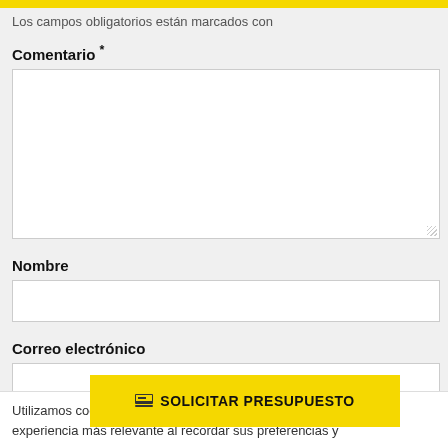Los campos obligatorios están marcados con
Comentario *
[Figure (other): Large textarea input box for comment field]
Nombre
[Figure (other): Single-line text input box for Nombre field]
Correo electrónico
[Figure (other): Single-line text input box for Correo electrónico field]
SOLICITAR PRESUPUESTO
Web
Utilizamos cookies en nuestro sitio web para ofrecerle la experiencia más relevante al recordar sus preferencias y